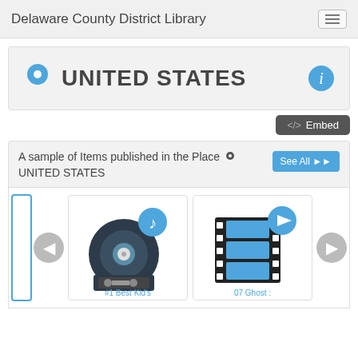Delaware County District Library
UNITED STATES
<> Embed
A sample of Items published in the Place UNITED STATES
[Figure (screenshot): Music record/cassette icon for #1 Best Kid's item]
[Figure (screenshot): Film strip icon for 07 Ghost item]
#1 Best Kid's
07 Ghost :